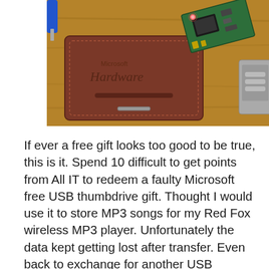[Figure (photo): Photo of a brown leather Microsoft Hardware wallet/card holder alongside a disassembled USB thumbdrive circuit board with a glowing LED, placed on a wooden surface. A blue screwdriver handle is partially visible at top left, and a grey device is at the right edge.]
If ever a free gift looks too good to be true, this is it. Spend 10 difficult to get points from All IT to redeem a faulty Microsoft free USB thumbdrive gift. Thought I would use it to store MP3 songs for my Red Fox wireless MP3 player. Unfortunately the data kept getting lost after transfer. Even back to exchange for another USB